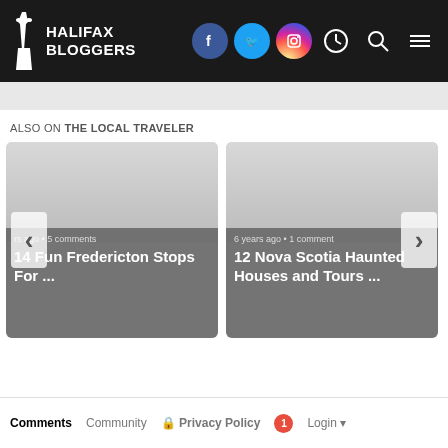HALIFAX BLOGGERS
ALSO ON THE LOCAL TRAVELER
[Figure (screenshot): Card: years ago • 5 comments — 14 Fun Fredericton Stops For ...]
[Figure (screenshot): Card: 6 years ago • 1 comment — 12 Nova Scotia Haunted Houses and Tours ...]
Comments  Community  Privacy Policy  1  Login